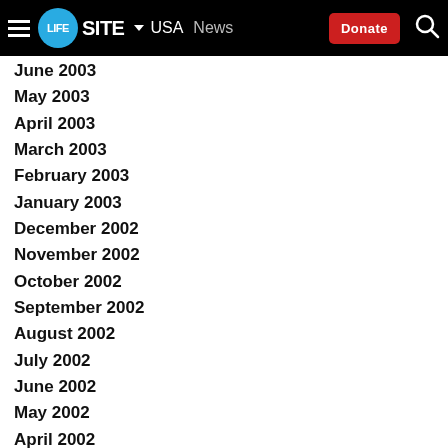LifeSite — USA | News | Donate
June 2003
May 2003
April 2003
March 2003
February 2003
January 2003
December 2002
November 2002
October 2002
September 2002
August 2002
July 2002
June 2002
May 2002
April 2002
March 2002
February 2002